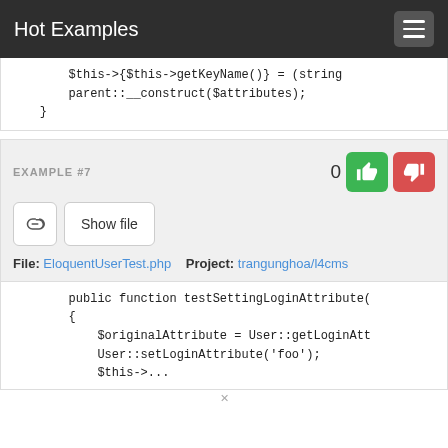Hot Examples
$this->{$this->getKeyName()} = (string
            parent::__construct($attributes);
        }
EXAMPLE #7
File: EloquentUserTest.php   Project: trangunghoa/l4cms
public function testSettingLoginAttribute(
        {
            $originalAttribute = User::getLoginAtt
            User::setLoginAttribute('foo');
            $this->...